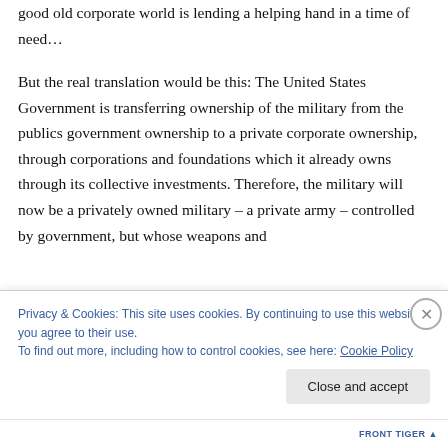public relations announcement. It sounds like the good old corporate world is lending a helping hand in a time of need…
But the real translation would be this: The United States Government is transferring ownership of the military from the publics government ownership to a private corporate ownership, through corporations and foundations which it already owns through its collective investments. Therefore, the military will now be a privately owned military – a private army – controlled by government, but whose weapons and
Privacy & Cookies: This site uses cookies. By continuing to use this website, you agree to their use.
To find out more, including how to control cookies, see here: Cookie Policy
Close and accept